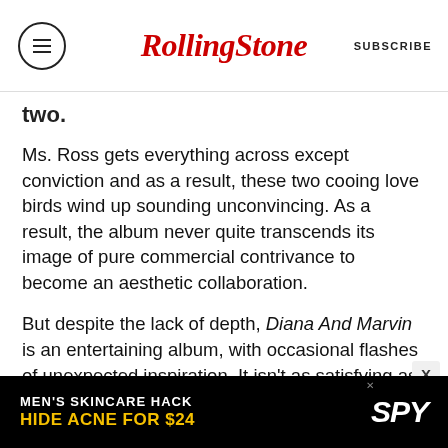RollingStone | SUBSCRIBE
two.
Ms. Ross gets everything across except conviction and as a result, these two cooing love birds wind up sounding unconvincing. As a result, the album never quite transcends its image of pure commercial contrivance to become an aesthetic collaboration.
But despite the lack of depth, Diana And Marvin is an entertaining album, with occasional flashes of unexpected inspiration. It isn't as satisfying as Let's Get It On but is infinitely superior to Touch Me in the Morning. And anything that moves Diana Ross closer to what she does best — sing
[Figure (screenshot): Advertisement banner: MEN'S SKINCARE HACK HIDE ACNE FOR $24 with SPY logo]